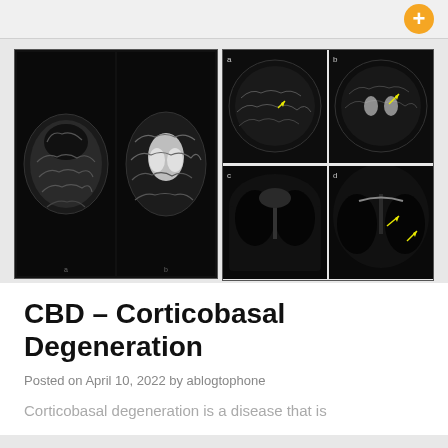[Figure (photo): MRI brain scans showing corticobasal degeneration — left panel shows two axial MRI slices on black background; right panel shows a 2x2 grid of brain MRI scans with yellow arrows indicating areas of interest]
CBD – Corticobasal Degeneration
Posted on April 10, 2022 by ablogtophone
Corticobasal degeneration is a disease that is